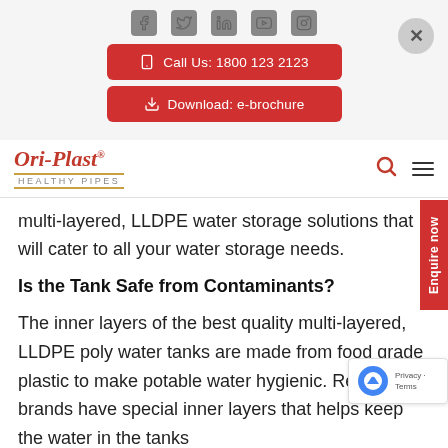[Figure (screenshot): Social media icons row: Facebook, Twitter, LinkedIn, YouTube, Instagram]
[Figure (screenshot): Red button: phone icon + 'Call Us: 1800 123 2123']
[Figure (screenshot): Red button: download icon + 'Download: e-brochure']
[Figure (logo): Ori-Plast Healthy Pipes logo in red cursive script with gold underline]
multi-layered, LLDPE water storage solutions that will cater to all your water storage needs.
Is the Tank Safe from Contaminants?
The inner layers of the best quality multi-layered, LLDPE poly water tanks are made from food grade plastic to make potable water hygienic. Reputed brands have special inner layers that helps keep the water in the tanks